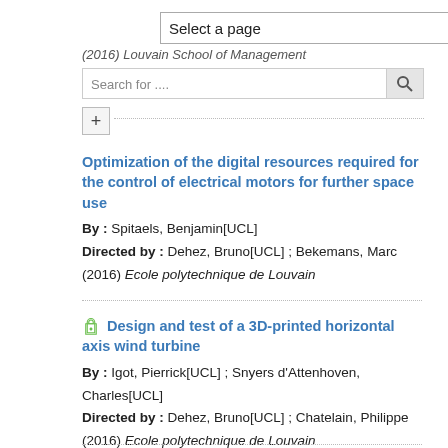[Figure (screenshot): Select a page dropdown UI element]
(2016) Louvain School of Management
[Figure (screenshot): Search bar UI with search input and button]
[Figure (screenshot): Plus button UI element]
Optimization of the digital resources required for the control of electrical motors for further space use
By : Spitaels, Benjamin[UCL]
Directed by : Dehez, Bruno[UCL] ; Bekemans, Marc
(2016) Ecole polytechnique de Louvain
Design and test of a 3D-printed horizontal axis wind turbine
By : Igot, Pierrick[UCL] ; Snyers d'Attenhoven, Charles[UCL]
Directed by : Dehez, Bruno[UCL] ; Chatelain, Philippe
(2016) Ecole polytechnique de Louvain